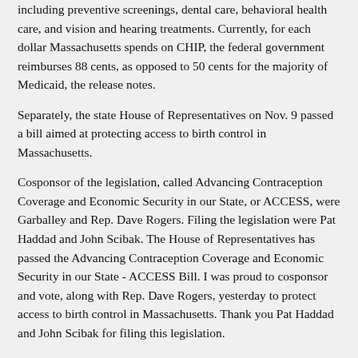including preventive screenings, dental care, behavioral health care, and vision and hearing treatments. Currently, for each dollar Massachusetts spends on CHIP, the federal government reimburses 88 cents, as opposed to 50 cents for the majority of Medicaid, the release notes.
Separately, the state House of Representatives on Nov. 9 passed a bill aimed at protecting access to birth control in Massachusetts.
Cosponsor of the legislation, called Advancing Contraception Coverage and Economic Security in our State, or ACCESS, were Garballey and Rep. Dave Rogers. Filing the legislation were Pat Haddad and John Scibak. The House of Representatives has passed the Advancing Contraception Coverage and Economic Security in our State - ACCESS Bill. I was proud to cosponsor and vote, along with Rep. Dave Rogers, yesterday to protect access to birth control in Massachusetts. Thank you Pat Haddad and John Scibak for filing this legislation.
For details, read a Globe summary >>
Representative, Friedman back ACCESS
On Nov. 14, the state Senate voted 27-0 to enact that